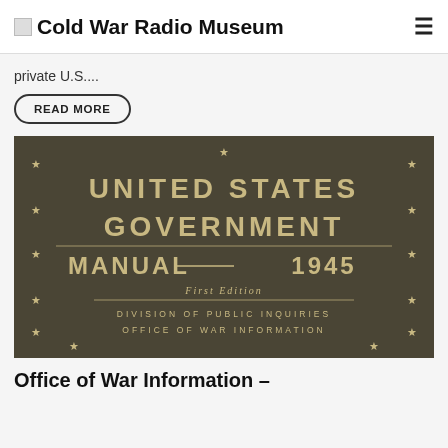Cold War Radio Museum
private U.S....
READ MORE
[Figure (photo): Book cover of United States Government Manual 1945, First Edition, Division of Public Inquiries, Office of War Information. Dark brown/olive background with large tan text and star decorations around the border.]
Office of War Information –